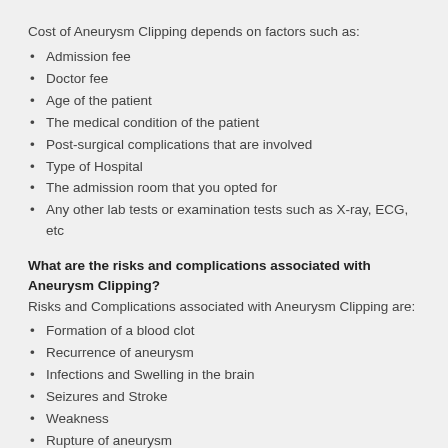Cost of Aneurysm Clipping depends on factors such as:
Admission fee
Doctor fee
Age of the patient
The medical condition of the patient
Post-surgical complications that are involved
Type of Hospital
The admission room that you opted for
Any other lab tests or examination tests such as X-ray, ECG, etc
What are the risks and complications associated with Aneurysm Clipping?
Risks and Complications associated with Aneurysm Clipping are:
Formation of a blood clot
Recurrence of aneurysm
Infections and Swelling in the brain
Seizures and Stroke
Weakness
Rupture of aneurysm
How long does it take to complete Aneurysm Clipping?